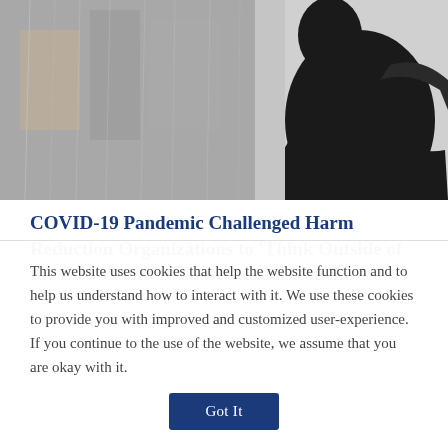[Figure (photo): A dark silhouette of a person with arms crossed looking out a rain-streaked window, moody and contemplative tone.]
COVID-19 Pandemic Challenged Harm Reduction Organizations to ‘Think Outside of the Box.’ Some of Those Lessons Stuck.
This website uses cookies that help the website function and to help us understand how to interact with it. We use these cookies to provide you with improved and customized user-experience. If you continue to the use of the website, we assume that you are okay with it.
Got It